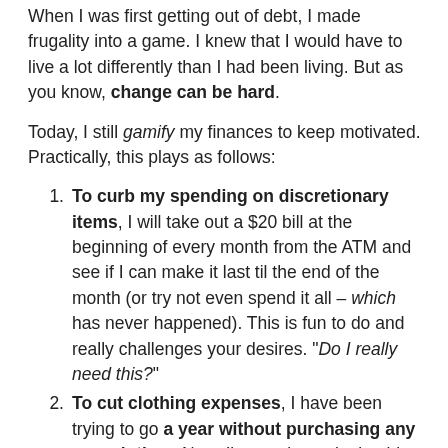When I was first getting out of debt, I made frugality into a game. I knew that I would have to live a lot differently than I had been living. But as you know, change can be hard.
Today, I still gamify my finances to keep motivated. Practically, this plays as follows:
To curb my spending on discretionary items, I will take out a $20 bill at the beginning of every month from the ATM and see if I can make it last til the end of the month (or try not even spend it all – which has never happened). This is fun to do and really challenges your desires. “Do I really need this?”
To cut clothing expenses, I have been trying to go a year without purchasing any new clothes. Now, I’m starting to look a bit scraggly (although I have received a few gifts of clothes at Christmas